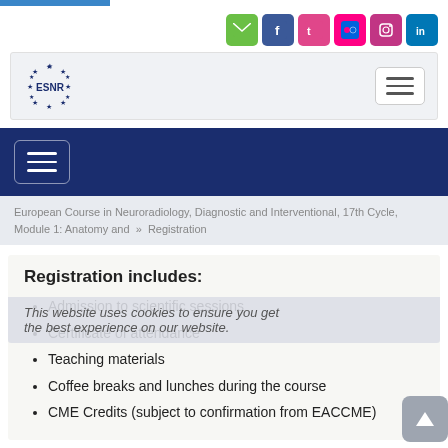[Figure (screenshot): Social media icons row: email (green), Facebook (blue), Twitter/pink, Flickr (pink), Instagram (purple), LinkedIn (blue)]
[Figure (logo): ESNR logo with stars in circle and hamburger menu button]
[Figure (screenshot): Dark blue navigation band with white hamburger menu icon]
European Course in Neuroradiology, Diagnostic and Interventional, 17th Cycle, Module 1: Anatomy and » Registration
Registration includes:
Admission to scientific sessions
Certificate of attendance
Teaching materials
Coffee breaks and lunches during the course
CME Credits (subject to confirmation from EACCME)